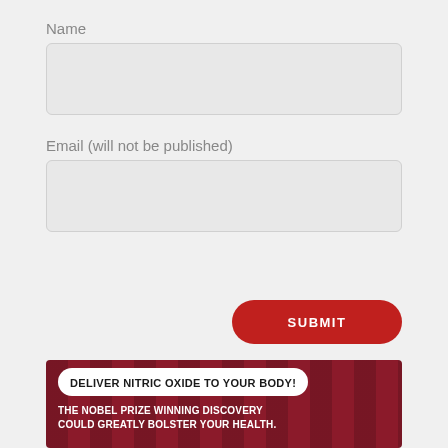Name
Email (will not be published)
SUBMIT
[Figure (infographic): Dark red striped banner ad with white rounded box containing bold text 'DELIVER NITRIC OXIDE TO YOUR BODY!' and below it white text 'THE NOBEL PRIZE WINNING DISCOVERY COULD GREATLY BOLSTER YOUR HEALTH.']